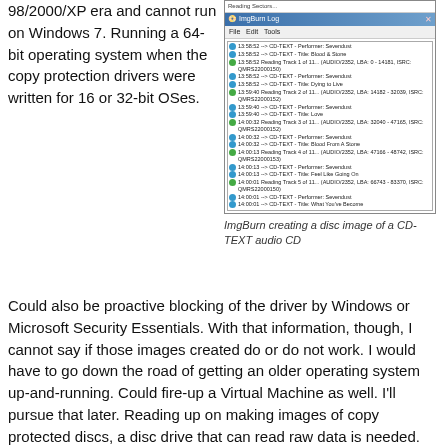98/2000/XP era and cannot run on Windows 7. Running a 64-bit operating system when the copy protection drivers were written for 16 or 32-bit OSes.
[Figure (screenshot): ImgBurn application window showing a log of reading a CD-TEXT audio CD, with entries showing performer, title, and track reading progress information.]
ImgBurn creating a disc image of a CD-TEXT audio CD
Could also be proactive blocking of the driver by Windows or Microsoft Security Essentials. With that information, though, I cannot say if those images created do or do not work. I would have to go down the road of getting an older operating system up-and-running. Could fire-up a Virtual Machine as well. I'll pursue that later. Reading up on making images of copy protected discs, a disc drive that can read raw data is needed. While most noted drives state they read raw data, they really cannot. I couldn't find a list of known working CD/DVD drives.